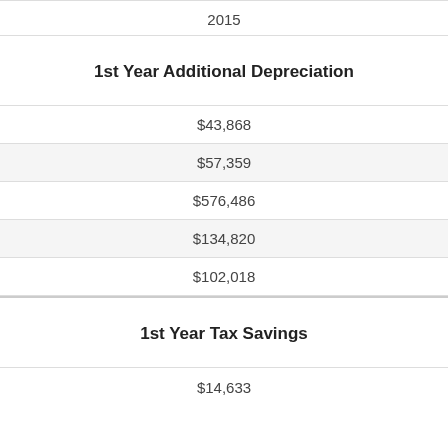2015
1st Year Additional Depreciation
$43,868
$57,359
$576,486
$134,820
$102,018
1st Year Tax Savings
$14,633